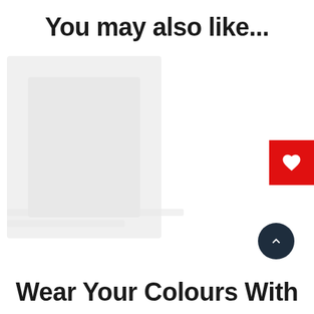You may also like...
[Figure (photo): Product image placeholder area with a faint garment/clothing item visible, partially rendered. A red wishlist/heart button appears on the right edge.]
Wear Your Colours With